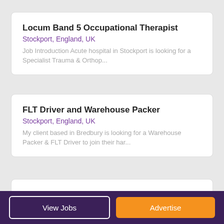Locum Band 5 Occupational Therapist
Stockport, England, UK
Job Introduction Acute hospital in Stockport is looking for a Specialist Trauma & Orthop...
FLT Driver and Warehouse Packer
Stockport, England, UK
My client based in Bredbury is looking for a Warehouse Packer & FLT Driver to join their har...
Technical Architect
Stockport, England, UK
Are you a Technical Architect seeking the chance to
View Jobs  Advertise